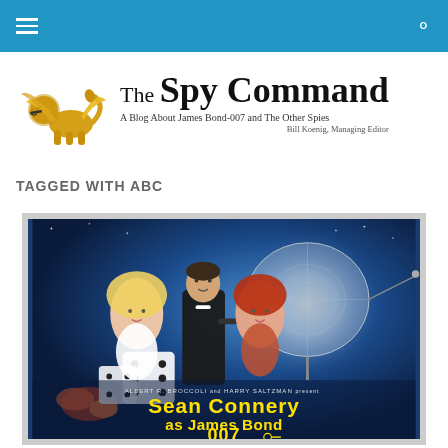Navigation bar with hamburger menu and search icon
[Figure (logo): The Spy Command website logo with a golden winged lion and site title text: 'The Spy Command — A Blog About James Bond-007 and The Other Spies, Bill Koenig, Managing Editor']
TAGGED WITH ABC
[Figure (photo): James Bond movie poster featuring Sean Connery in a tuxedo flanked by two women, with a large satellite dish in the background. Text reads: ALBERT R. BROCCOLI and HARRY SALTZMAN present Sean Connery as James Bond 007]